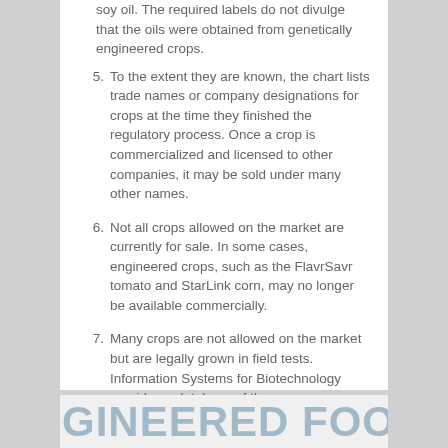soy oil. The required labels do not divulge that the oils were obtained from genetically engineered crops.
5. To the extent they are known, the chart lists trade names or company designations for crops at the time they finished the regulatory process. Once a crop is commercialized and licensed to other companies, it may be sold under many other names.
6. Not all crops allowed on the market are currently for sale. In some cases, engineered crops, such as the FlavrSavr tomato and StarLink corn, may no longer be available commercially.
7. Many crops are not allowed on the market but are legally grown in field tests. Information Systems for Biotechnology provides a database of these crops.
top of page
GINEERED FOOD IS CORPORATE